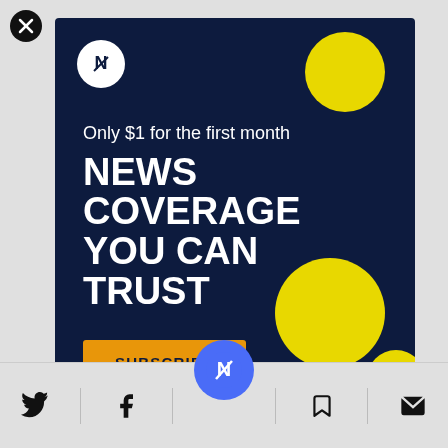[Figure (logo): Close button (X) in black circle, top-left corner]
[Figure (infographic): Dark navy advertisement panel with logo, yellow decorative circles, headline text, and subscribe button]
Only $1 for the first month
NEWS COVERAGE YOU CAN TRUST
SUBSCRIBE
[Figure (logo): Bottom toolbar with Twitter, Facebook, news logo (blue circle), bookmark, and email icons]